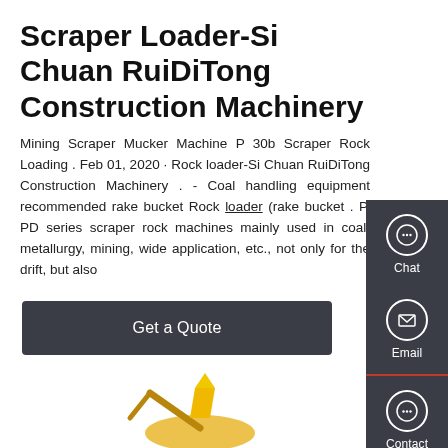Scraper Loader-Si Chuan RuiDiTong Construction Machinery
Mining Scraper Mucker Machine P 30b Scraper Rock Loading . Feb 01, 2020 · Rock loader-Si Chuan RuiDiTong Construction Machinery . - Coal handling equipment recommended rake bucket Rock loader (rake bucket . P, PD series scraper rock machines mainly used in coal, metallurgy, mining, wide application, etc., not only for the drift, but also
[Figure (screenshot): Get a Quote button - dark gray rectangular button with white text]
[Figure (illustration): Yellow mining scraper loader machine partially visible at bottom of page]